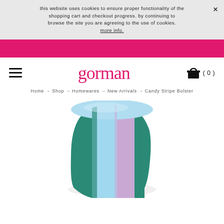this website uses cookies to ensure proper functionality of the shopping cart and checkout progress. by continuing to browse the site you are agreeing to the use of cookies. more info.
[Figure (other): Gorman brand logo in pink text]
Home → Shop → Homewares → New Arrivals → Candy Stripe Bolster
[Figure (photo): Candy stripe bolster pillow with pastel blue, lavender, and teal diagonal stripes, photographed from above at an angle showing the cylindrical shape.]